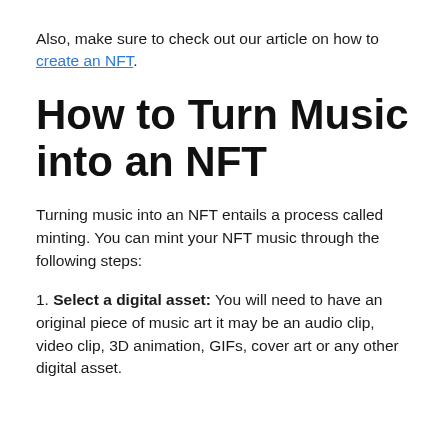Also, make sure to check out our article on how to create an NFT.
How to Turn Music into an NFT
Turning music into an NFT entails a process called minting. You can mint your NFT music through the following steps:
1. Select a digital asset: You will need to have an original piece of music art it may be an audio clip, video clip, 3D animation, GIFs, cover art or any other digital asset.